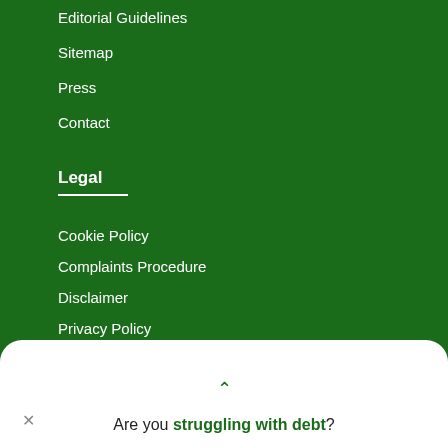Editorial Guidelines
Sitemap
Press
Contact
Legal
Cookie Policy
Complaints Procedure
Disclaimer
Privacy Policy
Terms & Conditions
Are you struggling with debt?